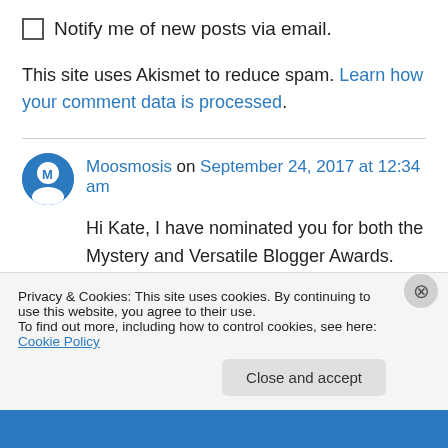Notify me of new posts via email.
This site uses Akismet to reduce spam. Learn how your comment data is processed.
Moosmosis on September 24, 2017 at 12:34 am
Hi Kate, I have nominated you for both the Mystery and Versatile Blogger Awards. Thank you for sharing with us your ecstatic journey of science fiction and poetry! We look forward to
Privacy & Cookies: This site uses cookies. By continuing to use this website, you agree to their use.
To find out more, including how to control cookies, see here: Cookie Policy
Close and accept